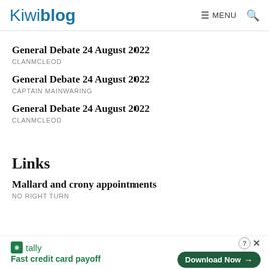Kiwiblog | MENU
General Debate 24 August 2022
CLANMCLEOD
General Debate 24 August 2022
CAPTAIN MAINWARING
General Debate 24 August 2022
CLANMCLEOD
Links
Mallard and crony appointments
NO RIGHT TURN
[Figure (screenshot): Tally app advertisement banner: 'Fast credit card payoff' with Download Now button]